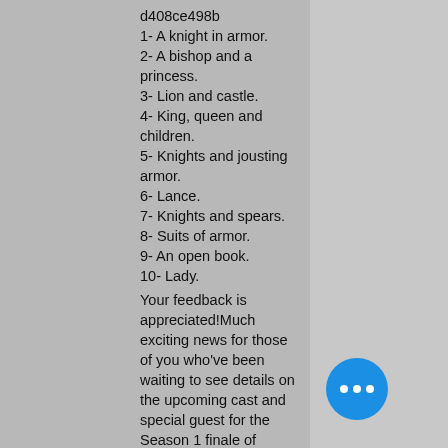d408ce498b
1- A knight in armor.
2- A bishop and a princess.
3- Lion and castle.
4- King, queen and children.
5- Knights and jousting armor.
6- Lance.
7- Knights and spears.
8- Suits of armor.
9- An open book.
10- Lady.
Your feedback is appreciated!Much exciting news for those of you who've been waiting to see details on the upcoming cast and special guest for the Season 1 finale of Stargate Atlantis. The information has just been made available by Stargate Atlantis Production. "Season
[Figure (other): Blue circular chat bubble with three white dots (more options indicator)]